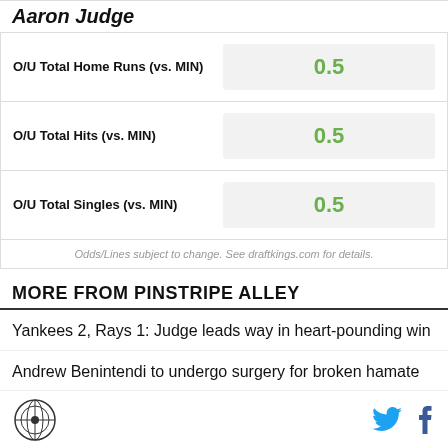Aaron Judge
| Stat | Value |
| --- | --- |
| O/U Total Home Runs (vs. MIN) | 0.5 |
| O/U Total Hits (vs. MIN) | 0.5 |
| O/U Total Singles (vs. MIN) | 0.5 |
Odds/Lines subject to change. See draftkings.com for details.
MORE FROM PINSTRIPE ALLEY
Yankees 2, Rays 1: Judge leads way in heart-pounding win
Andrew Benintendi to undergo surgery for broken hamate